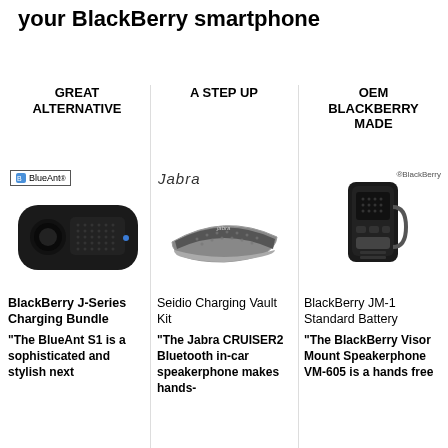your BlackBerry smartphone
GREAT ALTERNATIVE
A STEP UP
OEM BLACKBERRY MADE
[Figure (photo): BlueAnt S1 car speakerphone device - black oval shaped bluetooth speaker]
[Figure (photo): Jabra CRUISER2 Bluetooth in-car speakerphone - flat silver and black device]
[Figure (photo): BlackBerry Visor Mount Speakerphone VM-605 - black vertical device]
BlackBerry J-Series Charging Bundle
"The BlueAnt S1 is a sophisticated and stylish next
Seidio Charging Vault Kit
"The Jabra CRUISER2 Bluetooth in-car speakerphone makes hands-free
BlackBerry JM-1 Standard Battery
"The BlackBerry Visor Mount Speakerphone VM-605 is a hands free Bluetooth